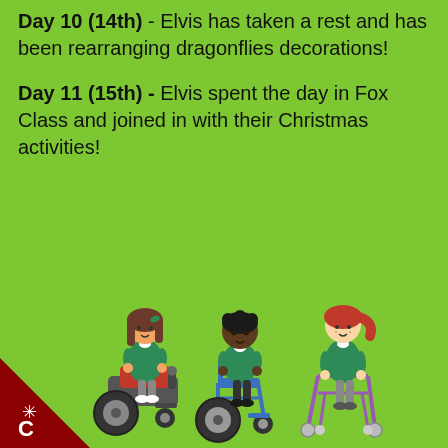Day 10 (14th) - Elvis has taken a rest and has been rearranging dragonflies decorations!
Day 11 (15th) - Elvis spent the day in Fox Class and joined in with their Christmas activities!
[Figure (illustration): Three cartoon children characters: a girl with brown hair in a red power wheelchair wearing a green school uniform, a boy with dark skin and curly black hair in a blue manual wheelchair wearing a green school uniform, and a girl with red/orange hair using a purple walking frame wearing a green school uniform. All on a bright green background.]
[Figure (logo): Red triangular corner badge with a white star/asterisk symbol and letter C, positioned at bottom-left corner.]